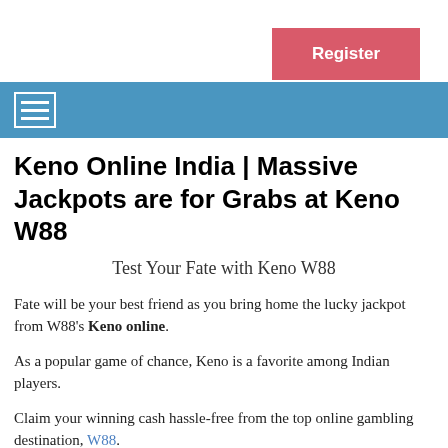Register
☰ (navigation menu bar)
Keno Online India | Massive Jackpots are for Grabs at Keno W88
Test Your Fate with Keno W88
Fate will be your best friend as you bring home the lucky jackpot from W88's Keno online.
As a popular game of chance, Keno is a favorite among Indian players.
Claim your winning cash hassle-free from the top online gambling destination, W88.
Experience extraordinary gameplay as you root for your lucky numbers in the optimized W88 platform.